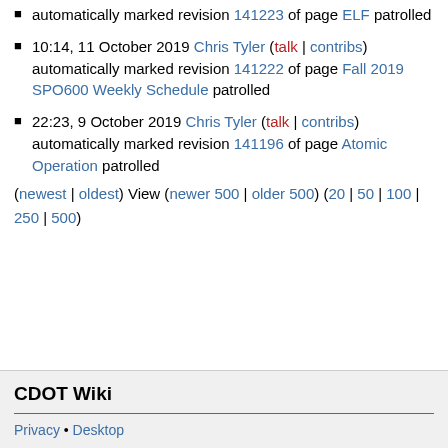automatically marked revision 141223 of page ELF patrolled
10:14, 11 October 2019 Chris Tyler (talk | contribs) automatically marked revision 141222 of page Fall 2019 SPO600 Weekly Schedule patrolled
22:23, 9 October 2019 Chris Tyler (talk | contribs) automatically marked revision 141196 of page Atomic Operation patrolled
(newest | oldest) View (newer 500 | older 500) (20 | 50 | 100 | 250 | 500)
CDOT Wiki
Privacy • Desktop